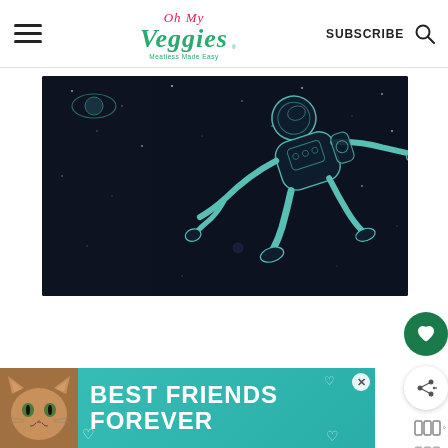Oh My Veggies - Meatless Made Easy - SUBSCRIBE
[Figure (illustration): Dark space scene with an illustrated astronaut floating in zero gravity, drawn in teal/mint outline style on a dark navy background with stars and a small planet.]
[Figure (photo): Advertisement banner with teal background showing a cat face on the left and bold white text reading BEST FRIENDS FOREVER with heart icons.]